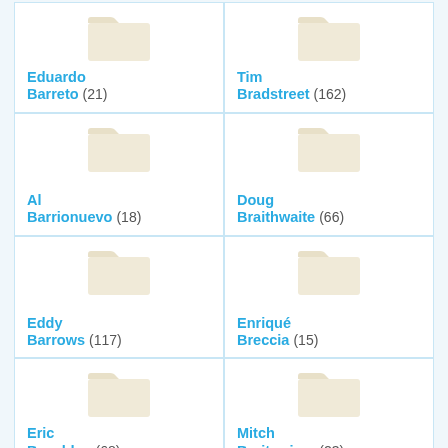Eduardo Barreto (21)
Tim Bradstreet (162)
Al Barrionuevo (18)
Doug Braithwaite (66)
Eddy Barrows (117)
Enriqué Breccia (15)
Eric Basaldua (68)
Mitch Breitweiser (23)
Sami